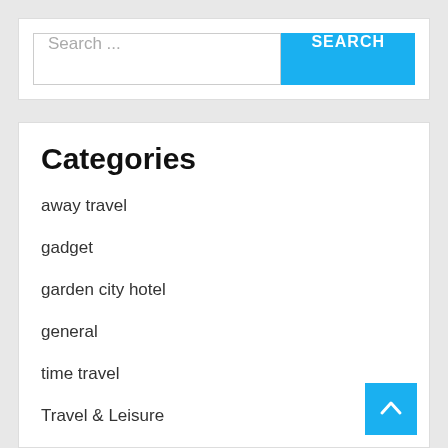Search ...
Categories
away travel
gadget
garden city hotel
general
time travel
Travel & Leisure
travel trailers